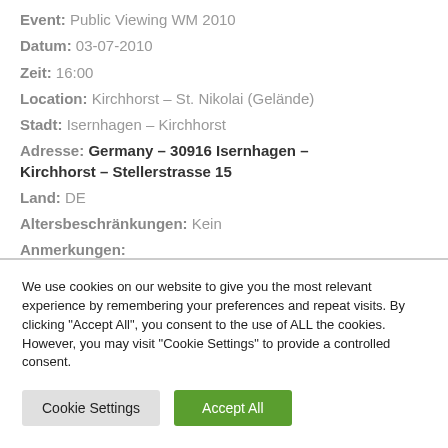Event: Public Viewing WM 2010
Datum: 03-07-2010
Zeit: 16:00
Location: Kirchhorst – St. Nikolai (Gelände)
Stadt: Isernhagen – Kirchhorst
Adresse: Germany – 30916 Isernhagen – Kirchhorst – Stellerstrasse 15
Land: DE
Altersbeschränkungen: Kein
Anmerkungen:
We use cookies on our website to give you the most relevant experience by remembering your preferences and repeat visits. By clicking "Accept All", you consent to the use of ALL the cookies. However, you may visit "Cookie Settings" to provide a controlled consent.